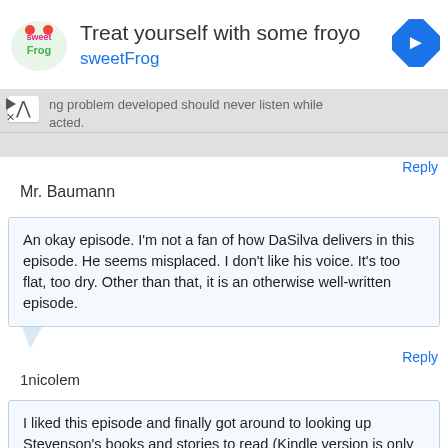[Figure (screenshot): Advertisement banner for sweetFrog frozen yogurt. Logo on left, text 'Treat yourself with some froyo' and 'sweetFrog', navigation icon on right.]
ing problem developedÂ should never listen while acted.
Reply
Mr. Baumann
An okay episode. I'm not a fan of how DaSilva delivers in this episode. He seems misplaced. I don't like his voice. It's too flat, too dry. Other than that, it is an otherwise well-written episode.
Reply
1nicolem
I liked this episode and finally got around to looking up Stevenson's books and stories to read (Kindle version is only $3.51 for all of them - I should order someday soon). Even though